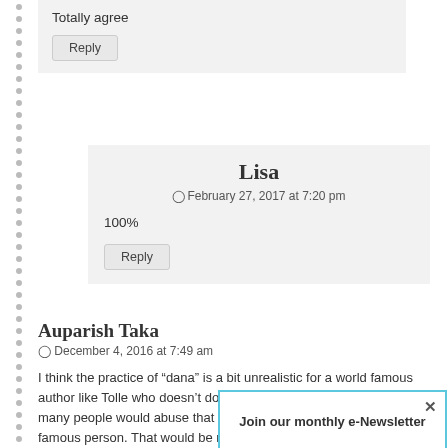Totally agree
Reply
Lisa
February 27, 2017 at 7:20 pm
100%
Reply
Auparish Taka
December 4, 2016 at 7:49 am
I think the practice of “dana” is a bit unrealistic for a world famous author like Tolle who doesn’t do that many lectures or retreats. Too many people would abuse that and claim to be poor just to see this famous person. That would be more suited for a non-famous teacher with a small following.
Just a thoug[h] out of respe[ct]
Join our monthly e-Newsletter